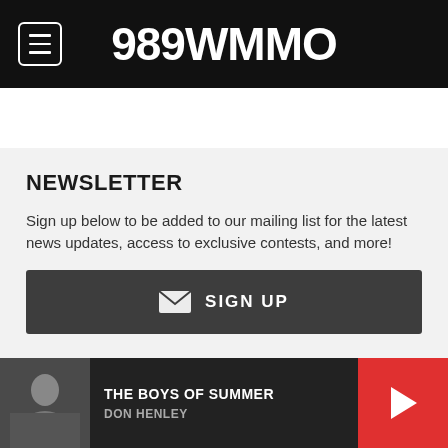989WMMO
NEWSLETTER
Sign up below to be added to our mailing list for the latest news updates, access to exclusive contests, and more!
SIGN UP
MOBILE APPS
Everything you love about wmmo.com and more! Tap on any of the buttons below to download our app.
THE BOYS OF SUMMER
DON HENLEY